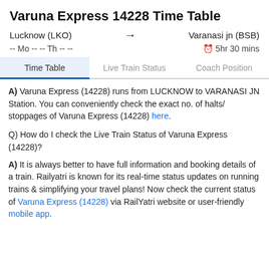Varuna Express 14228 Time Table
Lucknow (LKO)  →  Varanasi jn (BSB)
-- Mo -- -- Th -- --    🕐 5hr 30 mins
Time Table | Live Train Status | Coach Position
A) Varuna Express (14228) runs from LUCKNOW to VARANASI JN Station. You can conveniently check the exact no. of halts/stoppages of Varuna Express (14228) here.
Q) How do I check the Live Train Status of Varuna Express (14228)?
A) It is always better to have full information and booking details of a train. Railyatri is known for its real-time status updates on running trains & simplifying your travel plans! Now check the current status of Varuna Express (14228) via RailYatri website or user-friendly mobile app.